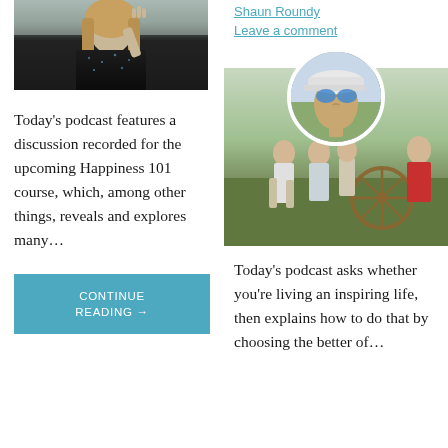[Figure (photo): Photo of a woman in a dark sparkly sweater with long hair]
Today's podcast features a discussion recorded for the upcoming Happiness 101 course, which, among other things, reveals and explores many…
CONTINUE READING →
Shaun Roundy
Leave a comment
[Figure (photo): Profile photo of Shaun Roundy (man with white cap and blue sunglasses) overlaid on background photo of people pulling a handcart]
Today's podcast asks whether you're living an inspiring life, then explains how to do that by choosing the better of…